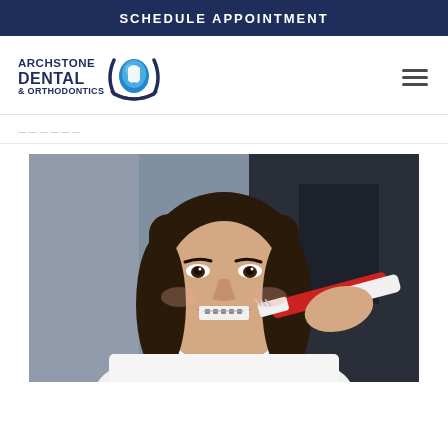SCHEDULE APPOINTMENT
[Figure (logo): Archstone Dental & Orthodontics logo with tooth icon]
ARCHSTONE DENTAL & ORTHODONTICS
breadcrumb navigation
[Figure (photo): Young woman with braces smiling and brushing her teeth with a red and white toothbrush]